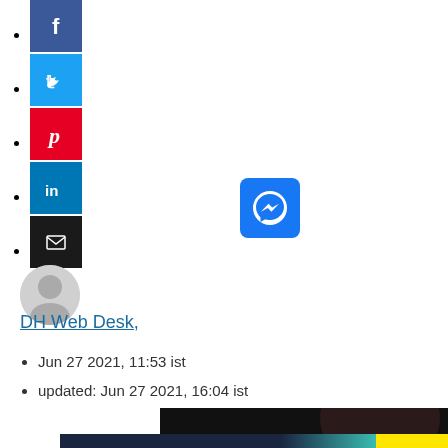Facebook share button
Twitter share button
Pinterest share button
LinkedIn share button
Email share button
[Figure (logo): Facebook Messenger button - blue rounded square with messenger lightning bolt icon]
[Figure (photo): Author avatar - grey circle with person silhouette]
DH Web Desk,
Jun 27 2021, 11:53 ist
updated: Jun 27 2021, 16:04 ist
[Figure (photo): Partial article image showing dark background with hair visible, and a promotional banner at bottom reading THE PERSPECTIVE - SEE WHAT YOU'RE MISSING with READ MORE button in yellow]